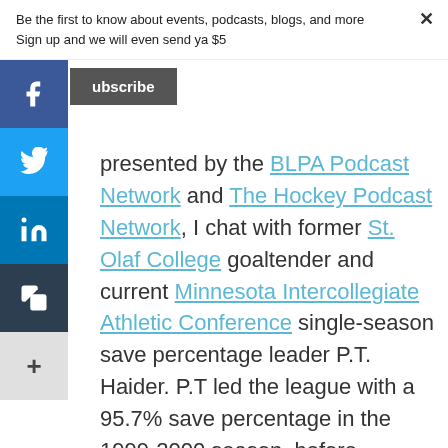Be the first to know about events, podcasts, blogs, and more
Sign up and we will even send ya $5
Subscribe
[Figure (other): Social media sharing sidebar with Facebook, Twitter, LinkedIn, Copy, and More buttons]
presented by the BLPA Podcast Network and The Hockey Podcast Network, I chat with former St. Olaf College goaltender and current Minnesota Intercollegiate Athletic Conference single-season save percentage leader P.T. Haider. P.T led the league with a 95.7% save percentage in the 1999-2000 season, before graduating and becoming a teacher. A career change lead him to